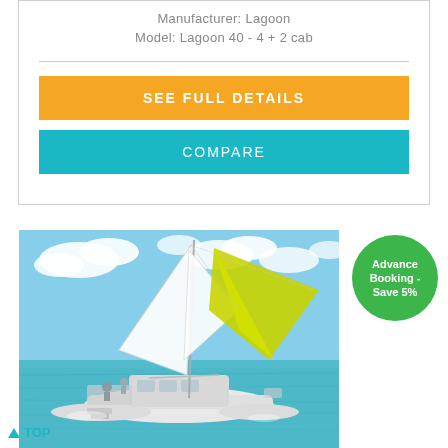Manufacturer: Lagoon
Model: Lagoon 40 - 4 + 2 cab
SEE FULL DETAILS
COMPARE
[Figure (photo): Sailing catamaran (Lagoon model) on the water with white sails and a yellow-green spinnaker sail deployed, under a partly cloudy sky. Several people visible on deck.]
Advance Booking - Save 5%
▲ TOP